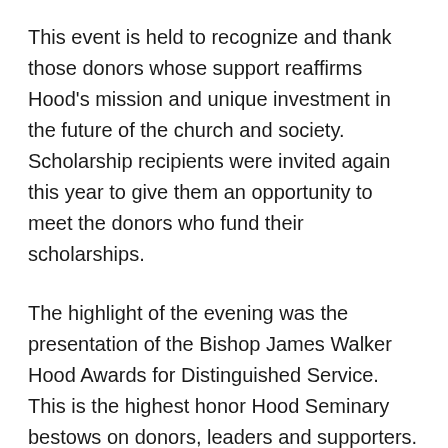This event is held to recognize and thank those donors whose support reaffirms Hood's mission and unique investment in the future of the church and society. Scholarship recipients were invited again this year to give them an opportunity to meet the donors who fund their scholarships.
The highlight of the evening was the presentation of the Bishop James Walker Hood Awards for Distinguished Service. This is the highest honor Hood Seminary bestows on donors, leaders and supporters. President Lattimore thanked this year's recipients for their generous financial support and contributions of time, talent, and treasure to the mission of Hood Theological Seminary.